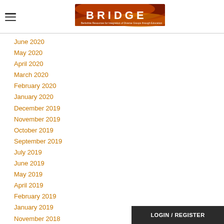BRIDGE — Berkshire Resources for Integration of Diverse Groups through Education
June 2020
May 2020
April 2020
March 2020
February 2020
January 2020
December 2019
November 2019
October 2019
September 2019
July 2019
June 2019
May 2019
April 2019
February 2019
January 2019
November 2018
LOGIN / REGISTER